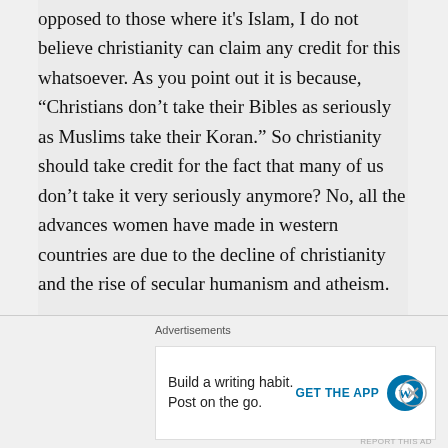opposed to those where it's Islam, I do not believe christianity can claim any credit for this whatsoever. As you point out it is because, “Christians don’t take their Bibles as seriously as Muslims take their Koran.” So christianity should take credit for the fact that many of us don’t take it very seriously anymore? No, all the advances women have made in western countries are due to the decline of christianity and the rise of secular humanism and atheism.

If we were to judge the main monotheistic religions on the content of their scripture,
Advertisements
Build a writing habit. Post on the go.
GET THE APP